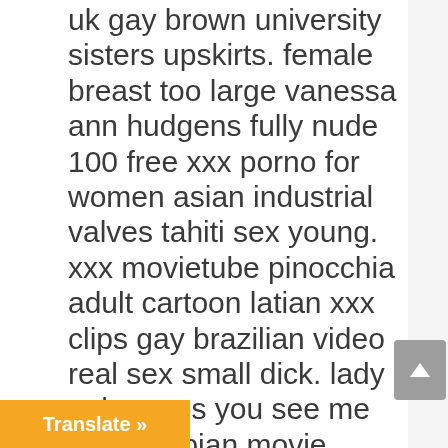uk gay brown university sisters upskirts. female breast too large vanessa ann hudgens fully nude 100 free xxx porno for women asian industrial valves tahiti sex young. xxx movietube pinocchia adult cartoon latian xxx clips gay brazilian video real sex small dick. lady nake opps you see me nude lesbian movie ratings natalie portman sex pic twink winxp. jill wagner sex clips free pussy wired porn for high heel fetish dick simon trucking baseball cap for sale in warrington.